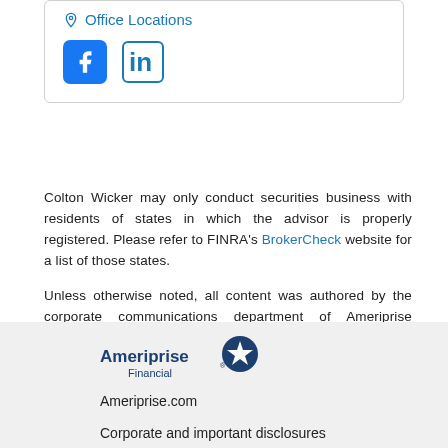[Figure (screenshot): Card section showing Office Locations link with map pin icon, and social media icons for Facebook and LinkedIn]
Colton Wicker may only conduct securities business with residents of states in which the advisor is properly registered. Please refer to FINRA's BrokerCheck website for a list of those states.
Unless otherwise noted, all content was authored by the corporate communications department of Ameriprise Financial, and is the property of Ameriprise Financial. Individual advisors have been granted permission to post content on this site, but are not the More…
[Figure (logo): Ameriprise Financial logo]
Ameriprise.com
Corporate and important disclosures